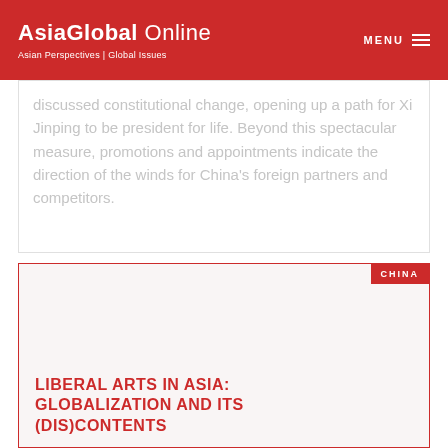AsiaGlobal Online | Asian Perspectives | Global Issues
discussed constitutional change, opening up a path for Xi Jinping to be president for life. Beyond this spectacular measure, promotions and appointments indicate the direction of the winds for China's foreign partners and competitors
CHINA
LIBERAL ARTS IN ASIA: GLOBALIZATION AND ITS (DIS)CONTENTS